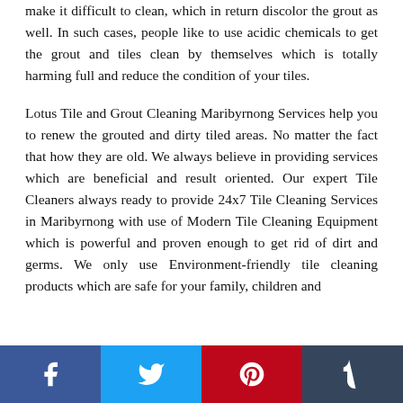make it difficult to clean, which in return discolor the grout as well. In such cases, people like to use acidic chemicals to get the grout and tiles clean by themselves which is totally harming full and reduce the condition of your tiles.
Lotus Tile and Grout Cleaning Maribyrnong Services help you to renew the grouted and dirty tiled areas. No matter the fact that how they are old. We always believe in providing services which are beneficial and result oriented. Our expert Tile Cleaners always ready to provide 24x7 Tile Cleaning Services in Maribyrnong with use of Modern Tile Cleaning Equipment which is powerful and proven enough to get rid of dirt and germs. We only use Environment-friendly tile cleaning products which are safe for your family, children and
[Figure (infographic): Social media share bar with four buttons: Facebook (blue), Twitter (light blue), Pinterest (red), Tumblr (dark blue/slate)]